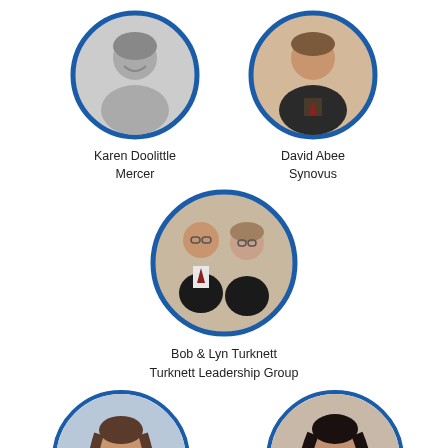[Figure (photo): Circular portrait photo of Karen Doolittle, black and white, woman with short light hair, smiling]
Karen Doolittle
Mercer
[Figure (photo): Circular portrait photo of David Abee, color, man in dark suit and tie, smiling]
David Abee
Synovus
[Figure (photo): Circular portrait photo of Bob & Lyn Turknett, couple standing together at an event, man in dark jacket with red tie, woman in dark jacket with glasses]
Bob & Lyn Turknett
Turknett Leadership Group
[Figure (photo): Circular portrait photo of a woman with long brown hair, partially visible at bottom left]
[Figure (photo): Circular portrait photo of a woman with dark hair, partially visible at bottom right]